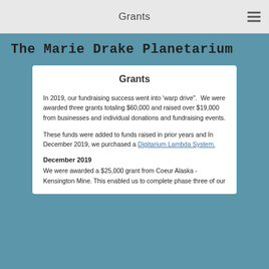Grants
The Marie Drake Planetarium
Grants
In 2019, our fundraising success went into 'warp drive".  We were awarded three grants totaling $60,000 and raised over $19,000 from businesses and individual donations and fundraising events.
These funds were added to funds raised in prior years and In December 2019, we purchased a Digitarium Lambda System.
December 2019
We were awarded a $25,000 grant from Coeur Alaska - Kensington Mine. This enabled us to complete phase three of our